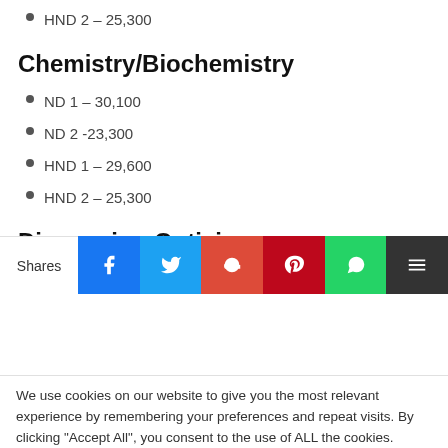HND 2 – 25,300
Chemistry/Biochemistry
ND 1 – 30,100
ND 2 -23,300
HND 1 – 29,600
HND 2 – 25,300
Dispensing Opticianry
ND 1 – 30,100
We use cookies on our website to give you the most relevant experience by remembering your preferences and repeat visits. By clicking "Accept All", you consent to the use of ALL the cookies. However, you may visit "Cookie Settings" to provide a controlled consent.